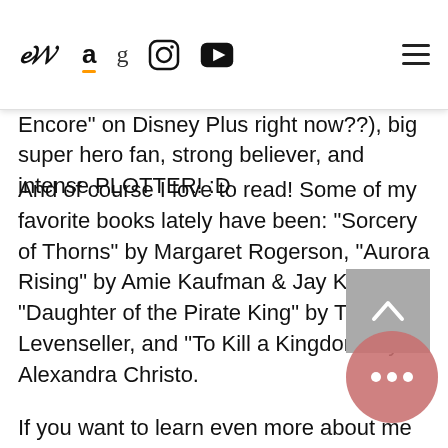[Figure (screenshot): Website navigation bar with logo (stylized 'bw' in italic), Amazon, Goodreads, Instagram, YouTube icons, and hamburger menu. Partial text 'als (is' visible at top right.]
Encore" on Disney Plus right now??), big super hero fan, strong believer, and intense PLOTTER! :D
And of course I love to read! Some of my favorite books lately have been: "Sorcery of Thorns" by Margaret Rogerson, "Aurora Rising" by Amie Kaufman & Jay Kristoff, "Daughter of the Pirate King" by Tricia Levenseller, and "To Kill a Kingdom" by Alexandra Christo.
If you want to learn even more about me and my journey thus far, check out my About Page where you'll find all